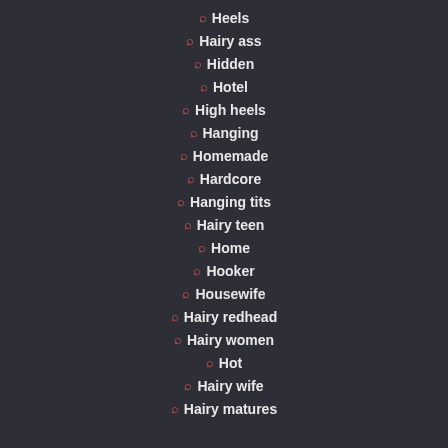Heels
Hairy ass
Hidden
Hotel
High heels
Hanging
Homemade
Hardcore
Hanging tits
Hairy teen
Home
Hooker
Housewife
Hairy redhead
Hairy women
Hot
Hairy wife
Hairy matures